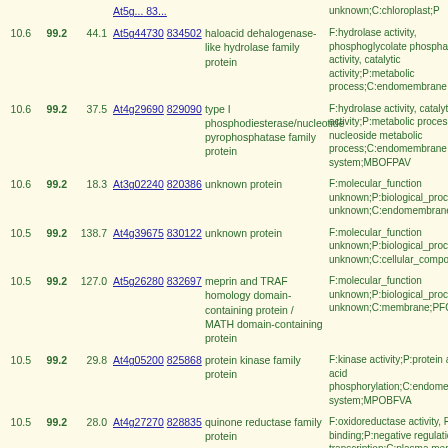| Score | Conf | Val | Gene Link | TAIR ID | Description | GO Annotation |
| --- | --- | --- | --- | --- | --- | --- |
| 10.6 | 99.2 | 44.1 | At5g44730 | 834502 | haloacid dehalogenase-like hydrolase family protein | F:hydrolase activity, phosphoglycolate phosphatase activity, catalytic activity;P:metabolic process;C:endomembrane system |
| 10.6 | 99.2 | 37.5 | At4g29690 | 829090 | type I phosphodiesterase/nucleotide pyrophosphatase family protein | F:hydrolase activity, catalytic activity;P:metabolic process, nucleoside metabolic process;C:endomembrane system;MBOFPAV |
| 10.6 | 99.2 | 18.3 | At3g02240 | 820386 | unknown protein | F:molecular_function unknown;P:biological_process unknown;C:endomembrane system |
| 10.5 | 99.2 | 138.7 | At4g39675 | 830122 | unknown protein | F:molecular_function unknown;P:biological_process unknown;C:cellular_component unknown |
| 10.5 | 99.2 | 127.0 | At5g26280 | 832697 | meprin and TRAF homology domain-containing protein / MATH domain-containing protein | F:molecular_function unknown;P:biological_process unknown;C:membrane;PFOM |
| 10.5 | 99.2 | 29.8 | At4g05200 | 825868 | protein kinase family protein | F:kinase activity;P:protein amino acid phosphorylation;C:endomembrane system;MPOBFVA |
| 10.5 | 99.2 | 28.0 | At4g27270 | 828835 | quinone reductase family protein | F:oxidoreductase activity, FMN binding;P:negative regulation of transcription;C:plasma membrane |
| 10.5 | 99.2 | 22.7 | At1g10990 | 837642 | unknown protein | F:molecular_function unknown;P:biological_process unknown;C:cellular_component unknown |
| 10.5 | 99.2 | 18.1 | At5g20550 | 832177 | oxidoreductase, 2OG-Fe(II) oxygenase family protein | F:oxidoreductase activity, acting on paired donors, with incorporation or reduction of molecular oxygen, 2-oxoglutarate as one donor, and incorporation of one atom each of oxygen into both donors, oxidoreductase activity;P:flavonoid biosynthetic process;C:cellular_component unknown;POBFM |
|  |  |  |  |  |  | F:electron carrier activity, peroxidase |